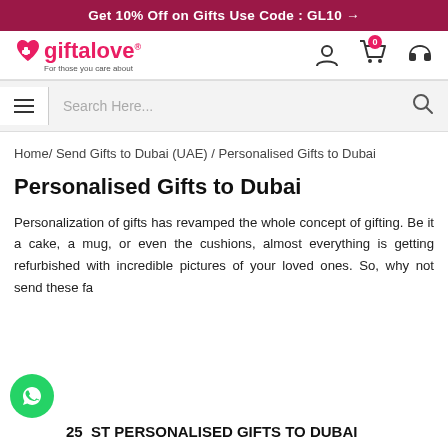Get 10% Off on Gifts Use Code : GL10 →
[Figure (logo): Giftalove logo with heart icon and tagline 'For those you care about']
Search Here...
Home/ Send Gifts to Dubai (UAE) / Personalised Gifts to Dubai
Personalised Gifts to Dubai
Personalization of gifts has revamped the whole concept of gifting. Be it a cake, a mug, or even the cushions, almost everything is getting refurbished with incredible pictures of your loved ones. So, why not send these fa
25 BEST PERSONALISED GIFTS TO DUBAI